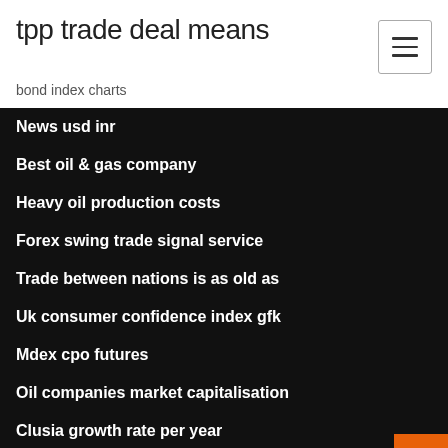tpp trade deal means
bond index charts
News usd inr
Best oil & gas company
Heavy oil production costs
Forex swing trade signal service
Trade between nations is as old as
Uk consumer confidence index gfk
Mdex cpo futures
Oil companies market capitalisation
Clusia growth rate per year
Trade weighted value of the us dollar